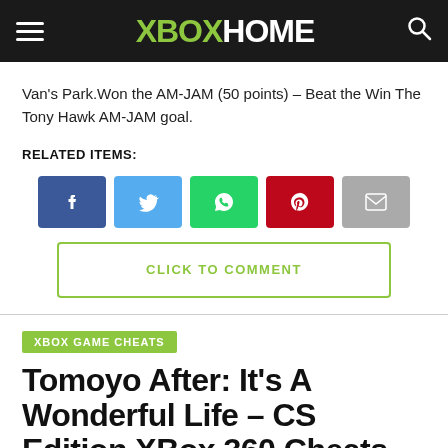XBOX HOME
Van's Park.Won the AM-JAM (50 points) – Beat the Win The Tony Hawk AM-JAM goal.
RELATED ITEMS:
[Figure (infographic): Social sharing buttons: Facebook (blue), Twitter (light blue), WhatsApp (green), Pinterest (red), Email (grey)]
CLICK TO COMMENT
XBOX GAME CHEATS
Tomoyo After: It's A Wonderful Life – CS Edition XBox 360 Cheats